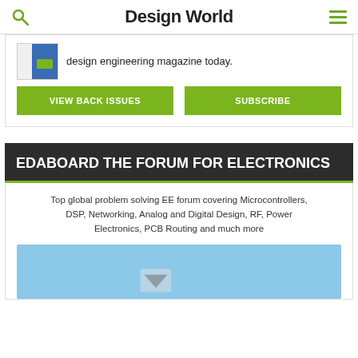Design World
design engineering magazine today.
VIEW BACK ISSUES
SUBSCRIBE
EDABOARD THE FORUM FOR ELECTRONICS
Top global problem solving EE forum covering Microcontrollers, DSP, Networking, Analog and Digital Design, RF, Power Electronics, PCB Routing and much more
[Figure (screenshot): EDAboard forum screenshot preview with light blue background]